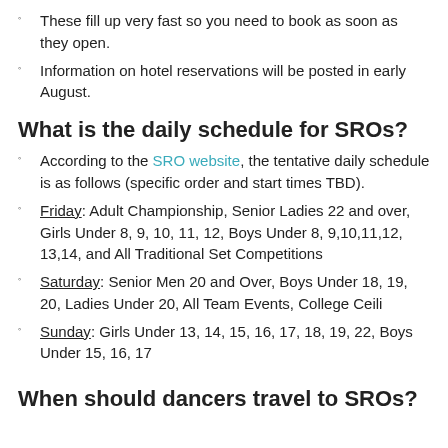These fill up very fast so you need to book as soon as they open.
Information on hotel reservations will be posted in early August.
What is the daily schedule for SROs?
According to the SRO website, the tentative daily schedule is as follows (specific order and start times TBD).
Friday: Adult Championship, Senior Ladies 22 and over, Girls Under 8, 9, 10, 11, 12, Boys Under 8, 9,10,11,12, 13,14, and All Traditional Set Competitions
Saturday: Senior Men 20 and Over, Boys Under 18, 19, 20, Ladies Under 20, All Team Events, College Ceili
Sunday: Girls Under 13, 14, 15, 16, 17, 18, 19, 22, Boys Under 15, 16, 17
When should dancers travel to SROs?